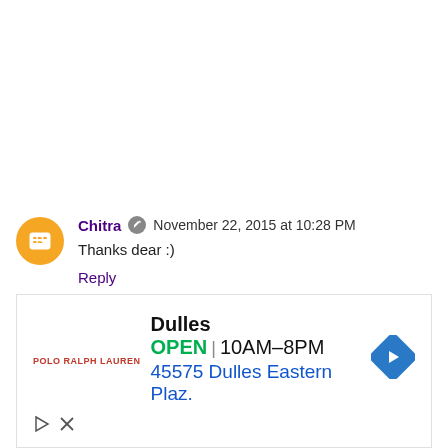Chitra  November 22, 2015 at 10:28 PM
Thanks dear :)
Reply
[Figure (screenshot): Advertisement for Dulles store: OPEN 10AM-8PM, 45575 Dulles Eastern Plaz. with navigation arrow icon and Polo Ralph Lauren logo]